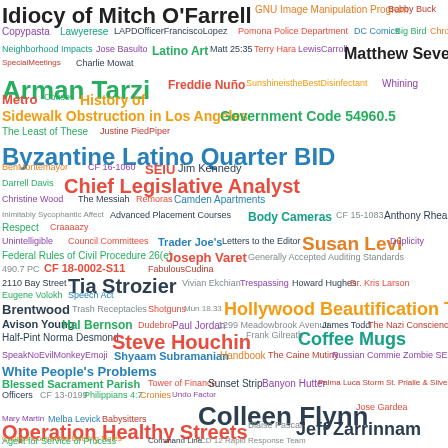[Figure (infographic): Word cloud containing names, topics, and phrases related to Los Angeles city government, council members, community organizations, legal references, and public figures. Words appear in various sizes and colors (green, blue, red, orange, purple, yellow, cyan, pink, gray, black) indicating frequency or importance. Includes terms like 'Idiocy of Mitch O'Farrell', 'Byzantine Latino Quarter BID', 'Chief Legislative Analyst', 'Hollywood Beautification Team', 'Colleen Flynn', 'Jeff Zarrinnam', 'Operation Healthy Streets', 'Verified Petitions', 'Housing and Community Investment Department', 'Death Rays', 'National Lawyers Guild', and many more.]